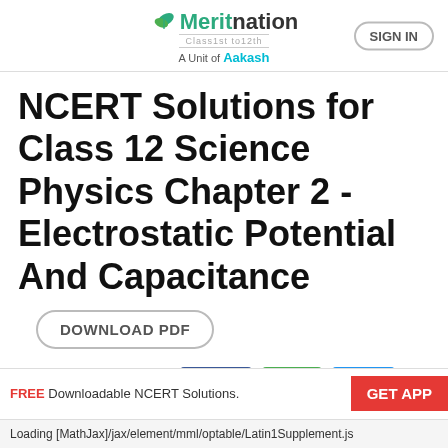Meritnation — Class1st to12th — A Unit of Aakash — SIGN IN
NCERT Solutions for Class 12 Science Physics Chapter 2 - Electrostatic Potential And Capacitance
DOWNLOAD PDF
Share with your friends  Share  Share  twitter
NCERT Solutions   Class 12   Physics
FREE Downloadable NCERT Solutions.  GET APP
Loading [MathJax]/jax/element/mml/optable/Latin1Supplement.js